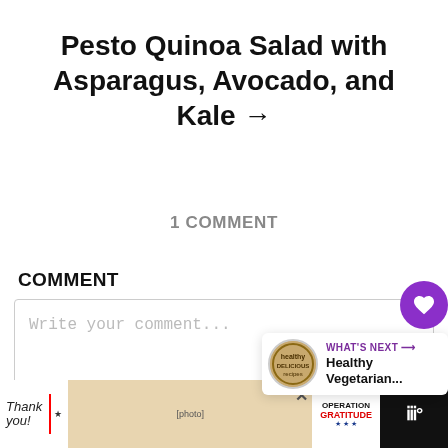Pesto Quinoa Salad with Asparagus, Avocado, and Kale →
1 COMMENT
COMMENT
Write your comment...
[Figure (screenshot): Comment input box with heart and share buttons, and a 'What's Next' card showing Healthy Vegetarian...]
[Figure (photo): Advertisement bar at the bottom: Thank you + Operation Gratitude ad with close button and Weee app icon]